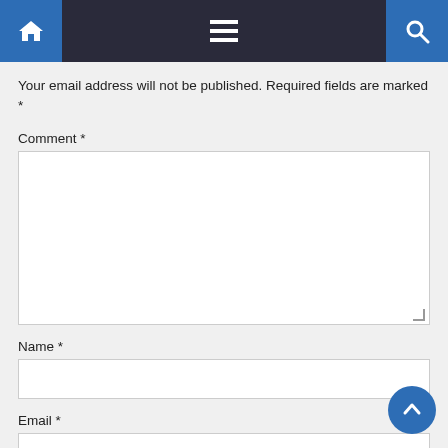Navigation bar with home, menu, and search icons
Your email address will not be published. Required fields are marked *
Comment *
Name *
Email *